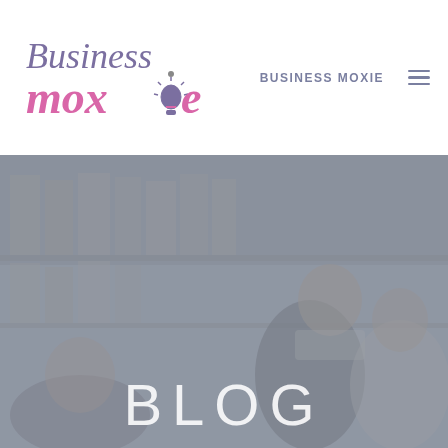[Figure (logo): Business Moxie logo: 'Business' in purple serif font, 'moxie' in pink cursive font with a lightbulb replacing the 'i' dot]
BUSINESS MOXIE
[Figure (photo): Muted/desaturated photo of people in a business/library setting, with a man in a suit in the center foreground looking down, bookshelves in the background]
BLOG